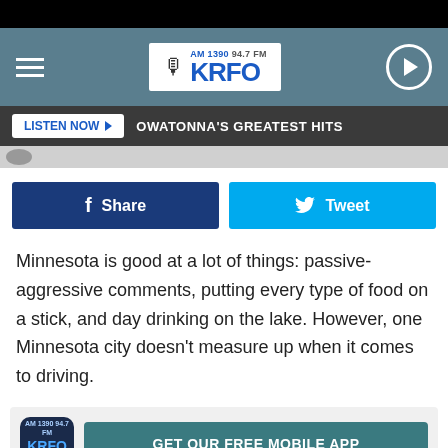[Figure (screenshot): KRFO AM 1390 94.7 FM radio station website header with logo, hamburger menu, and play button on teal/grey background]
LISTEN NOW ▶   OWATONNA'S GREATEST HITS
[Figure (screenshot): Partial article thumbnail image strip]
f  Share
Tweet
Minnesota is good at a lot of things: passive-aggressive comments, putting every type of food on a stick, and day drinking on the lake. However, one Minnesota city doesn't measure up when it comes to driving.
[Figure (logo): KRFO mobile app icon and GET OUR FREE MOBILE APP button]